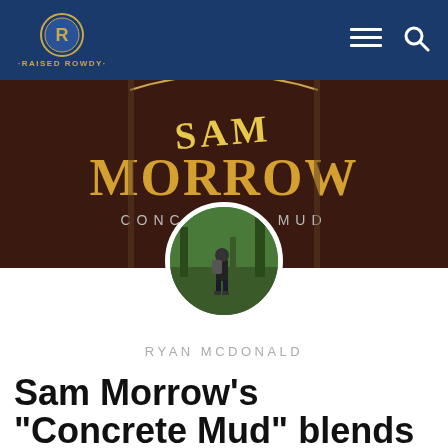RAISED ROWDY
[Figure (photo): Sam Morrow Concrete Mud album art banner with dark brown/maroon background and gold lettering. Below it, a circular profile photo of a person hiking viewed from behind.]
RYAN MCDONALD
Sam Morrow's “Concrete Mud” blends old school k with traditional country